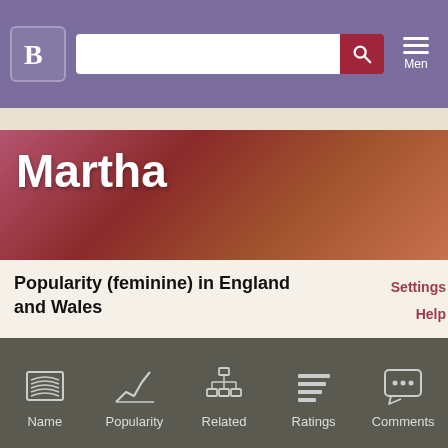B [logo] [search bar] Menu
Martha
Popularity (feminine) in England and Wales
Settings Help
names to compare  Compare
[Figure (line-chart): Line chart showing popularity of the name Martha over time, with y-axis labels 0.300% and 0.240%, showing a peak around 0.260% and another peak around 0.250%]
Name  Popularity  Related  Ratings  Comments